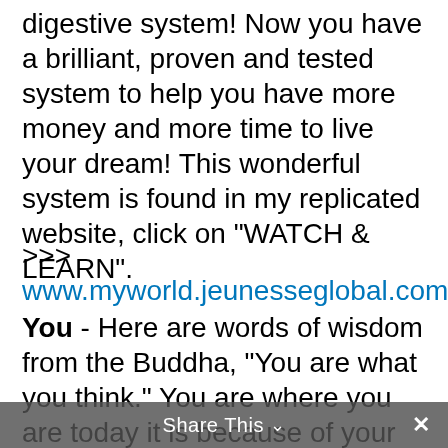digestive system! Now you have a brilliant, proven and tested system to help you have more money and more time to live your dream! This wonderful system is found in my replicated website, click on "WATCH & LEARN".
>>> www.myworld.jeunesseglobal.com
You - Here are words of wisdom from the Buddha, "You are what you think." You are where you are today it is because of your thoughts, words and actions. If you want to live a better life then you must think better, speak better and do better, won't you agree? Every morning when you wake up and before you sleep, look into the
Share This ∨  ×